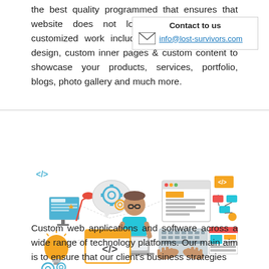the best quality programmed that ensures that website does not lose its objective. Our customized work includes custom home page design, custom inner pages & custom content to showcase your products, services, portfolio, blogs, photo gallery and much more.
[Figure (infographic): Web development infographic showing a developer at a laptop surrounded by icons: desk lamp with monitor, gear/settings speech bubble, browser windows, code brackets, keyboard with hands, lightbulb with gears, and a colorful website layout.]
Custom web applications and software across a wide range of technology platforms. Our main aim is to ensure that our client's business strategies